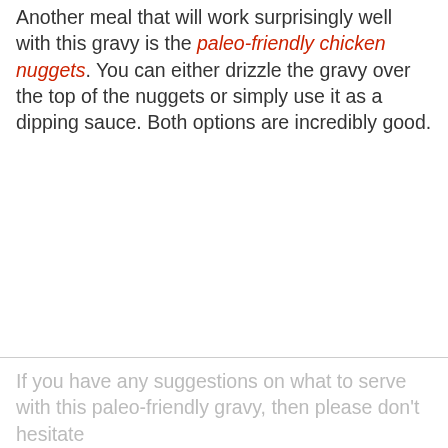Another meal that will work surprisingly well with this gravy is the paleo-friendly chicken nuggets. You can either drizzle the gravy over the top of the nuggets or simply use it as a dipping sauce. Both options are incredibly good.
If you have any suggestions on what to serve with this paleo-friendly gravy, then please don't hesitate